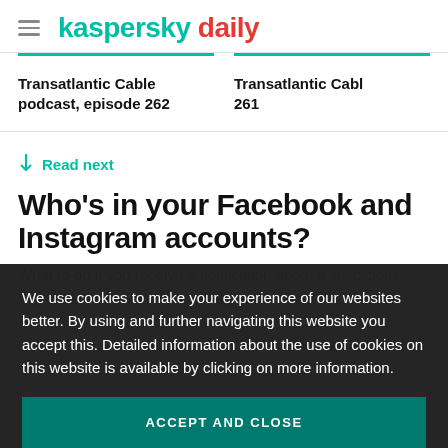kaspersky daily
Transatlantic Cable podcast, episode 262
Transatlantic Cable 261
↓ Read next
Who’s in your Facebook and Instagram accounts?
What to do if you receive a notification about a suspicious login to your Facebook or Instagram account.
We use cookies to make your experience of our websites better. By using and further navigating this website you accept this. Detailed information about the use of cookies on this website is available by clicking on more information.
ACCEPT AND CLOSE